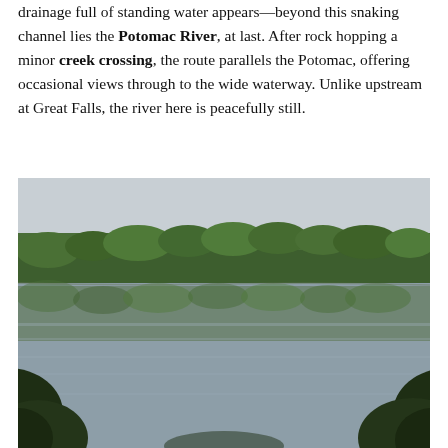drainage full of standing water appears—beyond this snaking channel lies the Potomac River, at last. After rock hopping a minor creek crossing, the route parallels the Potomac, offering occasional views through to the wide waterway. Unlike upstream at Great Falls, the river here is peacefully still.
[Figure (photo): A wide, calm river (the Potomac River) seen from the bank, with dense green forest reflected on the still water surface. Dark foliage frames the lower left and right corners of the image. The sky is overcast and pale above the treeline.]